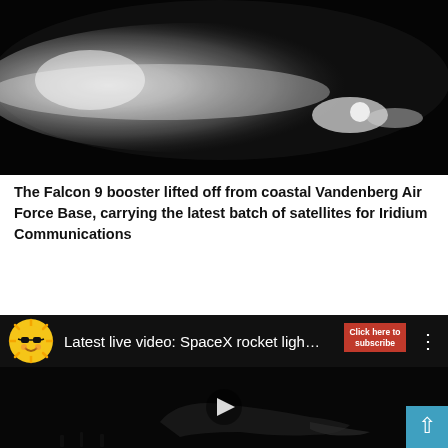[Figure (photo): Rocket contrail / exhaust plume against dark night sky, showing a bright white glowing trail spreading outward]
The Falcon 9 booster lifted off from coastal Vandenberg Air Force Base, carrying the latest batch of satellites for Iridium Communications
[Figure (screenshot): Embedded YouTube video thumbnail showing SpaceX rocket light with channel logo (sun with sunglasses), title 'Latest live video: SpaceX rocket ligh…', a red subscribe button, three-dot menu, and play button over dark rocket imagery. A blue scroll-to-top button is in the bottom right.]